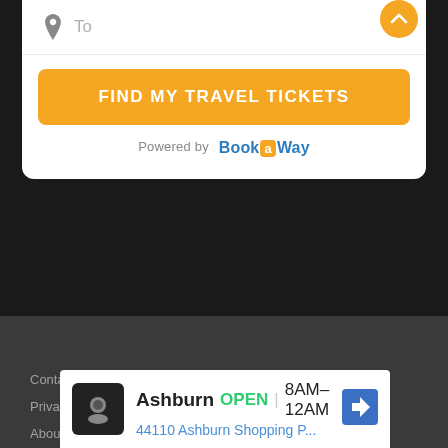[Figure (screenshot): White card showing a destination input field with a pin icon and 'To' placeholder text]
FIND MY TRAVEL TICKETS
Powered by BookaWay
Contact This Write Guy
Privacy Policy
About This Write Guy
[Figure (screenshot): Advertisement banner: Ashburn OPEN 8AM-12AM, 44110 Ashburn Shopping P... with navigation icon]